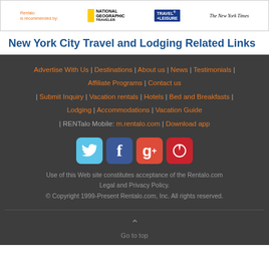[Figure (logo): Rentalo recommended by banner with National Geographic Traveler, Travel+Leisure, and The New York Times logos]
New York City Travel and Lodging Related Links
Advertise With Us | Destinations | About us | News | Testimonials | Affiliate Programs | Contact us | Submit Inquiry | Vacation rentals | Hotels | Bed and Breakfasts | Lodging | Accommodations | Vacation Guide | RENTalo Mobile: m.rentalo.com | Download app
[Figure (other): Social media icons: Twitter, Facebook, Google+, Pinterest]
Use of this Web site constitutes acceptance of the Rentalo.com Legal and Privacy Policy.
© Copyright 1999-Present Rentalo.com, Inc. All rights reserved.
Go to top